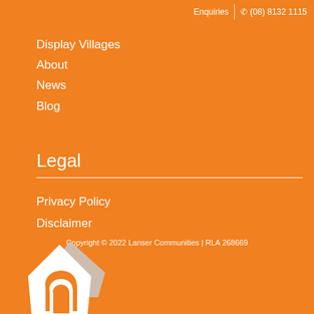Enquiries | (08) 8132 1115
Display Villages
About
News
Blog
Legal
Privacy Policy
Disclaimer
Copyright © 2022 Lanser Communities | RLA 268669
[Figure (logo): Lanser Communities logo — white house/building silhouette with an arch doorway cutout, partially overlaid with a light grey angular shape forming a pentagon-like composition]